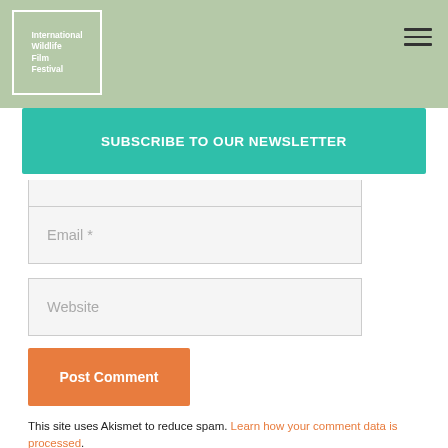International Wildlife Film Festival
SUBSCRIBE TO OUR NEWSLETTER
Email *
Website
Post Comment
This site uses Akismet to reduce spam. Learn how your comment data is processed.